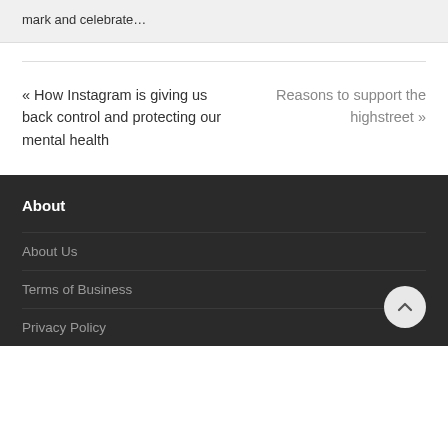mark and celebrate…
« How Instagram is giving us back control and protecting our mental health
Reasons to support the highstreet »
About
About Us
Terms of Business
Privacy Policy